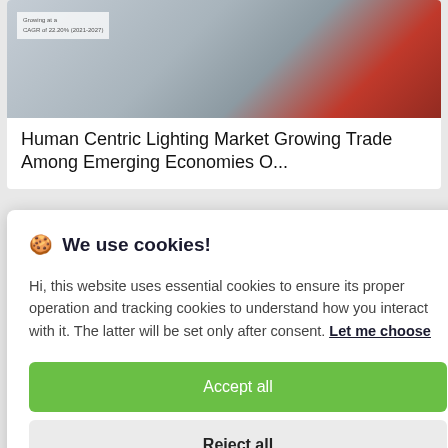[Figure (screenshot): Partial article card with thumbnail image showing a blurred document/chart with text overlay, partially visible.]
Human Centric Lighting Market Growing Trade Among Emerging Economies O...
🍪 We use cookies!

Hi, this website uses essential cookies to ensure its proper operation and tracking cookies to understand how you interact with it. The latter will be set only after consent. Let me choose

Accept all

Reject all